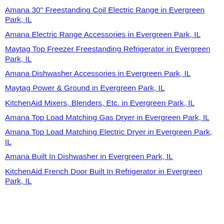Amana 30" Freestanding Coil Electric Range in Evergreen Park, IL
Amana Electric Range Accessories in Evergreen Park, IL
Maytag Top Freezer Freestanding Refrigerator in Evergreen Park, IL
Amana Dishwasher Accessories in Evergreen Park, IL
Maytag Power & Ground in Evergreen Park, IL
KitchenAid Mixers, Blenders, Etc. in Evergreen Park, IL
Amana Top Load Matching Gas Dryer in Evergreen Park, IL
Amana Top Load Matching Electric Dryer in Evergreen Park, IL
Amana Built In Dishwasher in Evergreen Park, IL
KitchenAid French Door Built In Refrigerator in Evergreen Park, IL